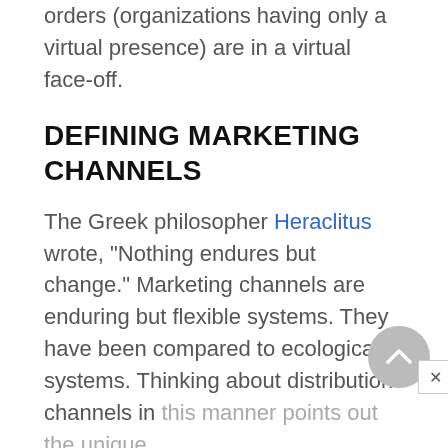orders (organizations having only a virtual presence) are in a virtual face-off.
DEFINING MARKETING CHANNELS
The Greek philosopher Heraclitus wrote, "Nothing endures but change." Marketing channels are enduring but flexible systems. They have been compared to ecological systems. Thinking about distribution channels in this manner points out the unique,